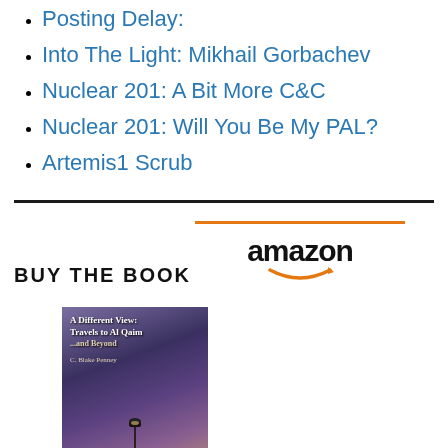Posting Delay:
Into The Light: Mikhail Gorbachev
Nuclear 201: A Bit More C&C
Nuclear 201: Will You Be My PAL?
Artemis1 Scrub
BUY THE BOOK
[Figure (logo): Amazon logo with orange top bar and smile arrow]
[Figure (photo): Book cover: A Different View: Travels to Al Qaim... and Beyond by C. Blake Penney, showing a lamp post against a purple/sunset sky]
A Different View: Travels to Al...